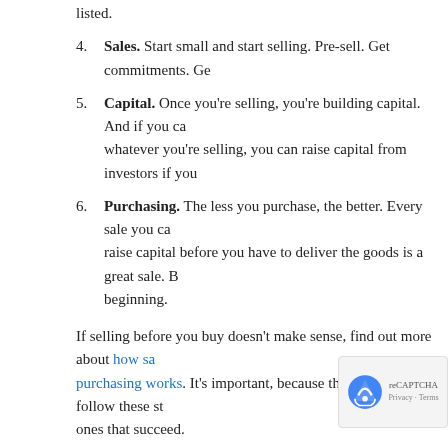listed.
4. Sales. Start small and start selling. Pre-sell. Get commitments. Ge...
5. Capital. Once you're selling, you're building capital. And if you ca... whatever you're selling, you can raise capital from investors if you...
6. Purchasing. The less you purchase, the better. Every sale you ca... raise capital before you have to deliver the goods is a great sale. B... beginning.
If selling before you buy doesn't make sense, find out more about how sales purchasing works. It's important, because the people that follow these st... ones that succeed.
Using The Business Chain To Diagnose Trouble
At the end of the business chain is profitability. Or if there's a problem, la... out what's wrong is to follow the chain backwards. So start with purchasi... the people.
Most companies cut purchasing costs when they're having tr... not usually the root problem. You have to go back further in t... at the very least. Sometimes you have to go back even further and craft...